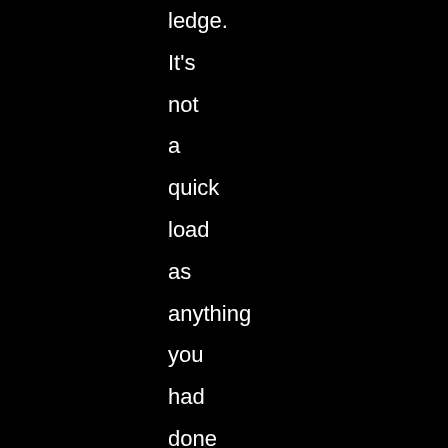ledge. It's not a quick load as anything you had done or collected stays that way, it just respawns you. But this